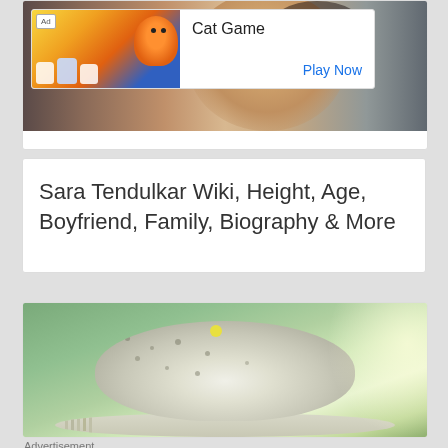[Figure (photo): Top card with a photo of a person (young woman) with an ad overlay for Cat Game showing cartoon cats with 'Ad' badge, 'Cat Game' text, and 'Play Now' button]
Sara Tendulkar Wiki, Height, Age, Boyfriend, Family, Biography & More
[Figure (photo): Photo of a person wearing a white crocheted/knit sun hat with blurred green background]
Advertisement
[Figure (other): Advertisement for unitypoint health Occupational Therapist Job on jobble.com, showing a woman in medical attire labeled 'Sponsored']